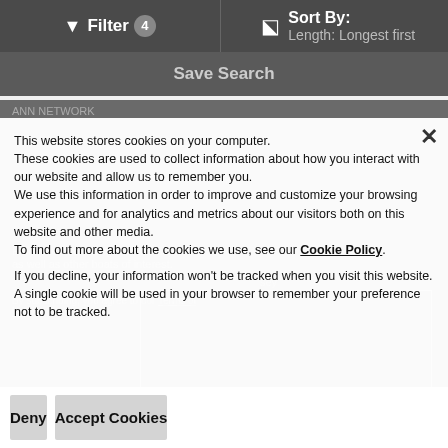Filter 4  |  Sort By: Length: Longest first
Save Search
This website stores cookies on your computer. These cookies are used to collect information about how you interact with our website and allow us to remember you. We use this information in order to improve and customize your browsing experience and for analytics and metrics about our visitors both on this website and other media. To find out more about the cookies we use, see our Cookie Policy.
If you decline, your information won't be tracked when you visit this website. A single cookie will be used in your browser to remember your preference not to be tracked.
Deny
Accept Cookies